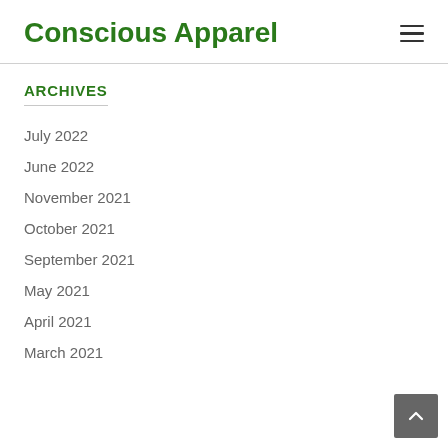Conscious Apparel
ARCHIVES
July 2022
June 2022
November 2021
October 2021
September 2021
May 2021
April 2021
March 2021